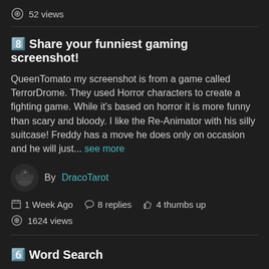52 views
8🔢 Share your funniest gaming screenshot!
QueenTomato my screenshot is from a game called TerrorDrome. They used Horror characters to create a fighting game. While it's based on horror it is more funny than scary and bloody. I like the Re-Animator with his silly suitcase! Freddy has a move he does only on occasion and he will just... see more
By DracoTarot
1 Week Ago  8 replies  4 thumbs up
1624 views
6🔢 Word Search
QueenTomato thanks, I'm enjoying the Legion Fridays and